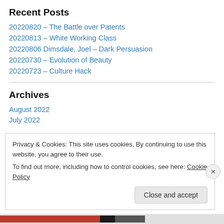Recent Posts
20220820 – The Battle over Patents
20220813 – White Working Class
20220806 Dimsdale, Joel – Dark Persuasion
20220730 – Evolution of Beauty
20220723 – Culture Hack
Archives
August 2022
July 2022
Privacy & Cookies: This site uses cookies. By continuing to use this website, you agree to their use. To find out more, including how to control cookies, see here: Cookie Policy
Close and accept